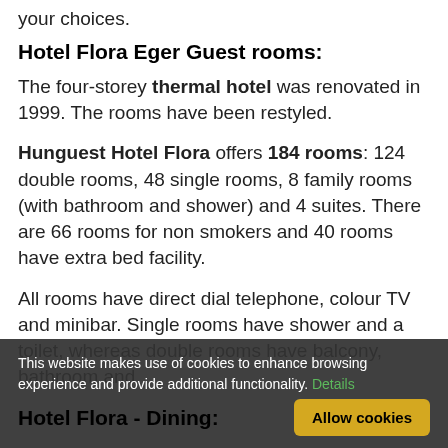your choices.
Hotel Flora Eger Guest rooms:
The four-storey thermal hotel was renovated in 1999. The rooms have been restyled.
Hunguest Hotel Flora offers 184 rooms: 124 double rooms, 48 single rooms, 8 family rooms (with bathroom and shower) and 4 suites. There are 66 rooms for non smokers and 40 rooms have extra bed facility.
All rooms have direct dial telephone, colour TV and minibar. Single rooms have shower and a toilet, whereas double rooms have balcony, bathroom and shower.
This website makes use of cookies to enhance browsing experience and provide additional functionality. Details
Hotel Flora - Dining: